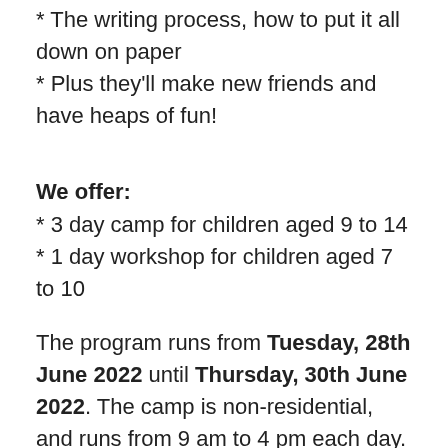* The writing process, how to put it all down on paper
* Plus they'll make new friends and have heaps of fun!
We offer:
* 3 day camp for children aged 9 to 14
* 1 day workshop for children aged 7 to 10
The program runs from Tuesday, 28th June 2022 until Thursday, 30th June 2022. The camp is non-residential, and runs from 9 am to 4 pm each day.
The number of places on the camp is strictly limited so register early if your child is